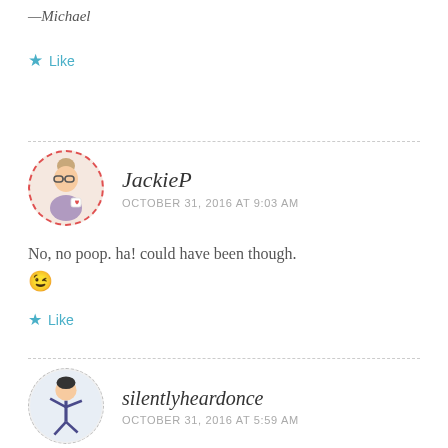—Michael
★ Like
JackieP
OCTOBER 31, 2016 AT 9:03 AM
No, no poop. ha! could have been though. 😉
★ Like
silentlyheardonce
OCTOBER 31, 2016 AT 5:59 AM